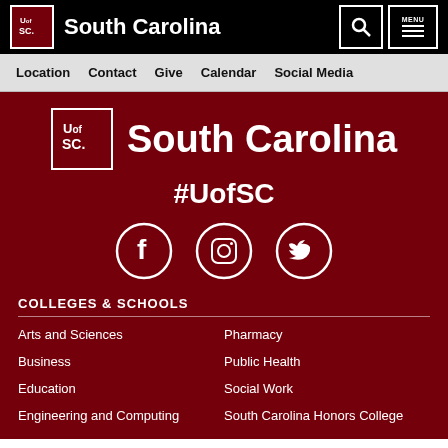University of South Carolina
Location | Contact | Give | Calendar | Social Media
[Figure (logo): University of South Carolina logo with UofSC text and South Carolina wordmark on dark red background]
#UofSC
[Figure (infographic): Social media icons: Facebook, Instagram, Twitter]
COLLEGES & SCHOOLS
Arts and Sciences
Pharmacy
Business
Public Health
Education
Social Work
Engineering and Computing
South Carolina Honors College